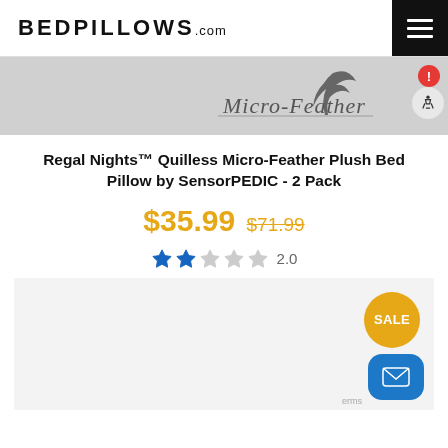BEDPILLOWS.com
[Figure (logo): Micro-Feather brand banner in grey background with feather icon and italic script text]
Regal Nights™ Quilless Micro-Feather Plush Bed Pillow by SensorPEDIC - 2 Pack
$35.99 $71.99
2.0 star rating
[Figure (photo): Product image area with SALE badge and email contact button]